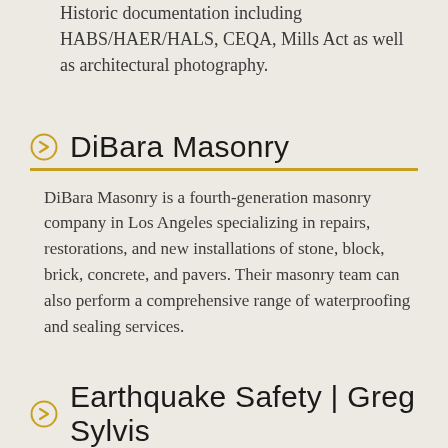Historic documentation including HABS/HAER/HALS, CEQA, Mills Act as well as architectural photography.
DiBara Masonry
DiBara Masonry is a fourth-generation masonry company in Los Angeles specializing in repairs, restorations, and new installations of stone, block, brick, concrete, and pavers. Their masonry team can also perform a comprehensive range of waterproofing and sealing services.
Earthquake Safety | Greg Sylvis